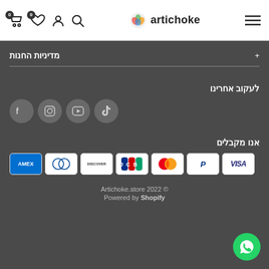Artichoke store header with cart (0), wishlist (0), user, search icons, logo, and hamburger menu
מדיניות החנות
לעקוב אחרינו
[Figure (other): Social media icons: TikTok, YouTube, Instagram, Facebook]
אנו מקבלים
[Figure (other): Payment method logos: VISA, PayPal, Mastercard, JCB, Discover, Diners Club, American Express]
Artichoke.store 2022 © Powered by Shopify